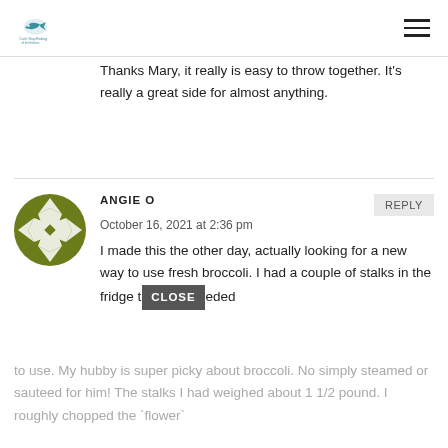[Logo: Can't Stop Baking or similar food blog] [Hamburger menu icon]
Thanks Mary, it really is easy to throw together. It's really a great side for almost anything.
ANGIE O
October 16, 2021 at 2:36 pm
I made this the other day, actually looking for a new way to use fresh broccoli. I had a couple of stalks in the fridge that needed to use. My hubby is super picky about broccoli. No simply steamed or sauteed for him! The stalks I had weighed about 1 1/2 pound. I roughly chopped the `flower`